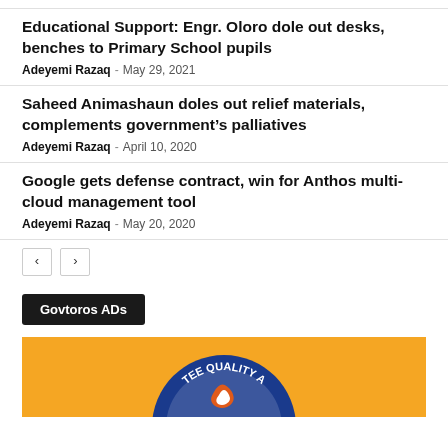Educational Support: Engr. Oloro dole out desks, benches to Primary School pupils
Adeyemi Razaq - May 29, 2021
Saheed Animashaun doles out relief materials, complements government’s palliatives
Adeyemi Razaq - April 10, 2020
Google gets defense contract, win for Anthos multi-cloud management tool
Adeyemi Razaq - May 20, 2020
< >
Govtoros ADs
[Figure (logo): Circular blue badge logo on orange background with text 'TEE QUALITY A...' partially visible]